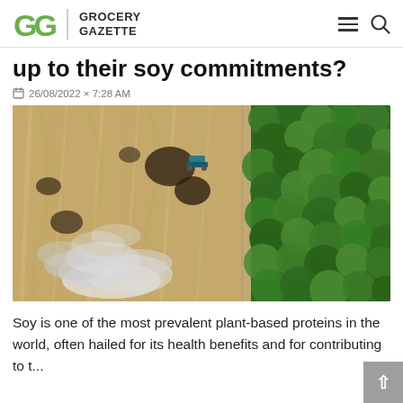GROCERY GAZETTE
up to their soy commitments?
26/08/2022 × 7:28 AM
[Figure (photo): Aerial drone view of deforestation showing cleared land with burning vegetation and smoke on the left half, and dense green forest on the right half, with a vehicle visible near the cleared area.]
Soy is one of the most prevalent plant-based proteins in the world, often hailed for its health benefits and for contributing to t...